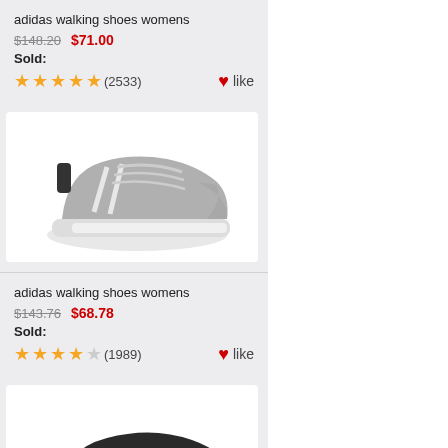adidas walking shoes womens
$148.20  $71.00
Sold:
★★★★★ (2533)  ♥like
[Figure (photo): Gray Adidas NMD sneaker on white background]
adidas walking shoes womens
$143.76  $68.78
Sold:
★★★★☆ (1989)  ♥like
[Figure (photo): Black Adidas slip-on shoe on white background, partially visible]